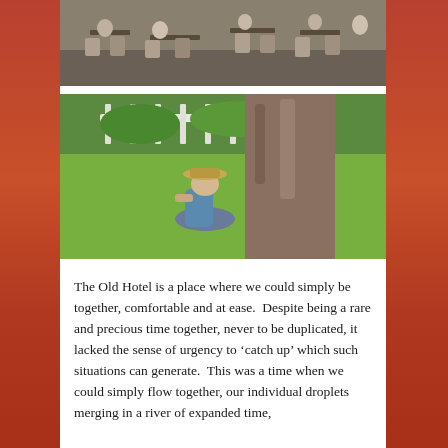[Figure (photo): Outdoor scene with people sitting at tables and chairs in a shaded area]
[Figure (photo): Person in a hat sitting relaxed against a large tree trunk on a green lawn with a white fence in the background]
The Old Hotel is a place where we could simply be together, comfortable and at ease.  Despite being a rare and precious time together, never to be duplicated, it lacked the sense of urgency to ‘catch up’ which such situations can generate.  This was a time when we could simply flow together, our individual droplets merging in a river of expanded time,